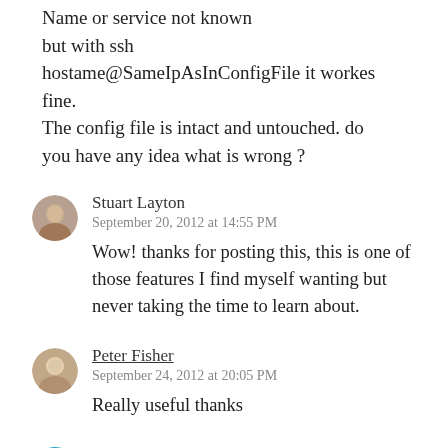Name or service not known but with ssh hostame@SameIpAsInConfigFile it workes fine.
The config file is intact and untouched. do you have any idea what is wrong ?
Stuart Layton
September 20, 2012 at 14:55 PM
Wow! thanks for posting this, this is one of those features I find myself wanting but never taking the time to learn about.
Peter Fisher
September 24, 2012 at 20:05 PM
Really useful thanks
fero
December 17, 2012 at 8:47 AM